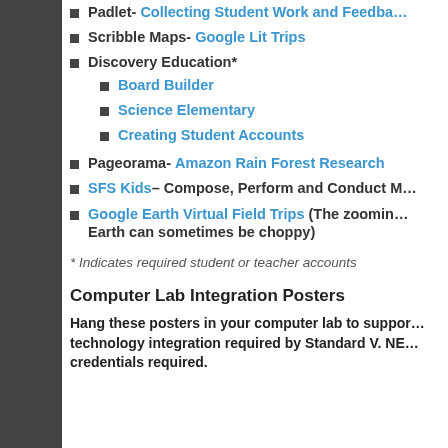Padlet- Collecting Student Work and Feedback
Scribble Maps- Google Lit Trips
Discovery Education*
Board Builder
Science Elementary
Creating Student Accounts
Pageorama- Amazon Rain Forest Research
SFS Kids– Compose, Perform and Conduct M
Google Earth Virtual Field Trips (The zooming Earth can sometimes be choppy)
* Indicates required student or teacher accounts
Computer Lab Integration Posters
Hang these posters in your computer lab to support technology integration required by Standard V. NE credentials required.